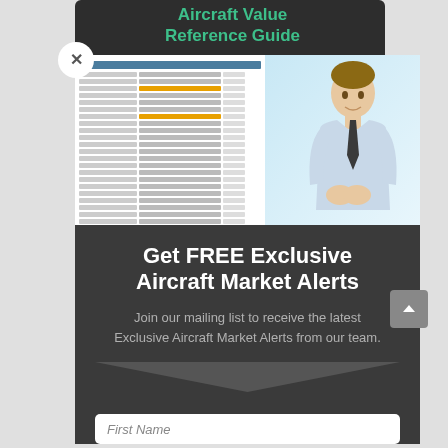Aircraft Value Reference Guide
[Figure (photo): A man in a white shirt and dark tie standing in front of a spreadsheet/data table on a screen, promotional modal image.]
Get FREE Exclusive Aircraft Market Alerts
Join our mailing list to receive the latest Exclusive Aircraft Market Alerts from our team.
First Name